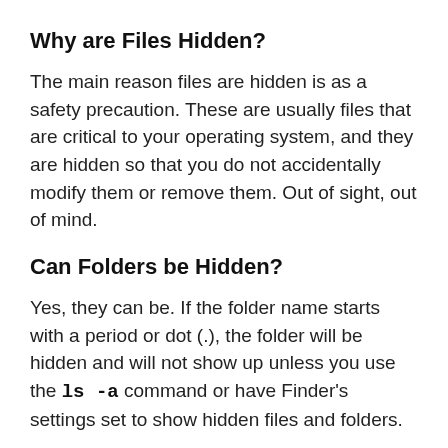Why are Files Hidden?
The main reason files are hidden is as a safety precaution. These are usually files that are critical to your operating system, and they are hidden so that you do not accidentally modify them or remove them. Out of sight, out of mind.
Can Folders be Hidden?
Yes, they can be. If the folder name starts with a period or dot (.), the folder will be hidden and will not show up unless you use the ls -a command or have Finder’s settings set to show hidden files and folders.
How to Show Hidden Files?